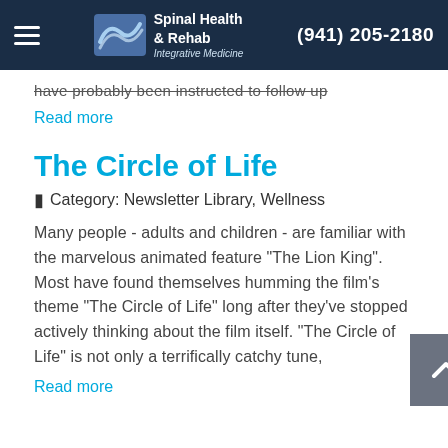Spinal Health & Rehab Integrative Medicine — (941) 205-2180
have probably been instructed to follow up
Read more
The Circle of Life
Category: Newsletter Library, Wellness
Many people - adults and children - are familiar with the marvelous animated feature "The Lion King". Most have found themselves humming the film's theme "The Circle of Life" long after they've stopped actively thinking about the film itself. "The Circle of Life" is not only a terrifically catchy tune,
Read more